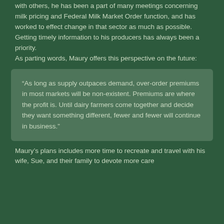with others, he has been a part of many meetings concerning milk pricing and Federal Milk Market Order function, and has worked to effect change in that sector as much as possible.  Getting timely information to his producers has always been a priority.
As parting words, Maury offers this perspective on the future:
“As long as supply outpaces demand, over-order premiums in most markets will be non-existent. Premiums are where the profit is. Until dairy farmers come together and decide they want something different, fewer and fewer will continue in business.”
Maury’s plans includes more time to recreate and travel with his wife, Sue, and their family to devote more care